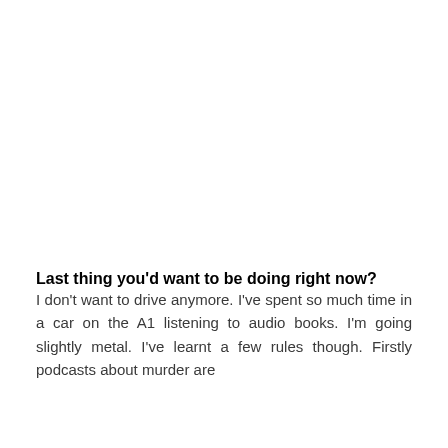Last thing you'd want to be doing right now?
I don't want to drive anymore. I've spent so much time in a car on the A1 listening to audio books. I'm going slightly metal. I've learnt a few rules though. Firstly podcasts about murder are